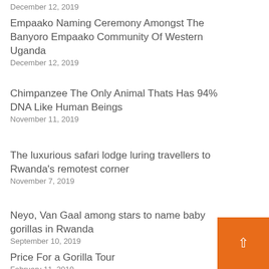December 12, 2019
Empaako Naming Ceremony Amongst The Banyoro Empaako Community Of Western Uganda
December 12, 2019
Chimpanzee The Only Animal Thats Has 94% DNA Like Human Beings
November 11, 2019
The luxurious safari lodge luring travellers to Rwanda's remotest corner
November 7, 2019
Neyo, Van Gaal among stars to name baby gorillas in Rwanda
September 10, 2019
Price For a Gorilla Tour
February 11, 2019